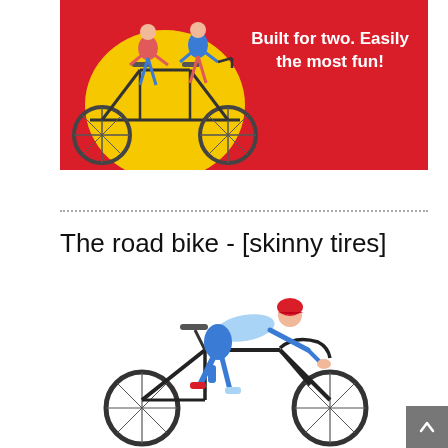[Figure (illustration): Red banner with tandem bicycle illustration (two riders on a single long bike) in red, yellow, and black, with the text 'Built for two. Easily the most fun!' in white on the right side.]
[Figure (illustration): Illustration of a road cyclist in a crouched racing position wearing a red helmet and blue jersey, riding a black road bike with skinny tires.]
The road bike - [skinny tires]